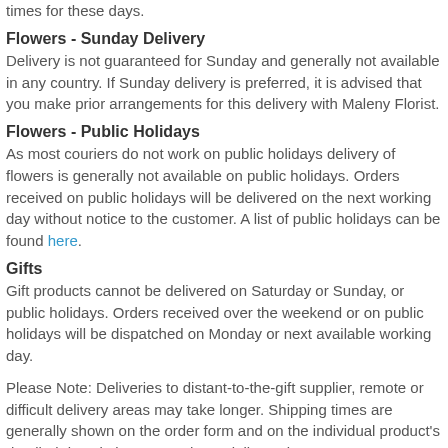times for these days.
Flowers - Sunday Delivery
Delivery is not guaranteed for Sunday and generally not available in any country. If Sunday delivery is preferred, it is advised that you make prior arrangements for this delivery with Maleny Florist.
Flowers - Public Holidays
As most couriers do not work on public holidays delivery of flowers is generally not available on public holidays. Orders received on public holidays will be delivered on the next working day without notice to the customer. A list of public holidays can be found here.
Gifts
Gift products cannot be delivered on Saturday or Sunday, or public holidays. Orders received over the weekend or on public holidays will be dispatched on Monday or next available working day.
Please Note: Deliveries to distant-to-the-gift supplier, remote or difficult delivery areas may take longer. Shipping times are generally shown on the order form and on the individual product's detailed description page. These delivery times are not